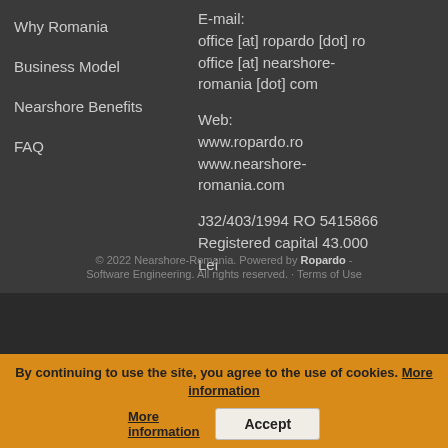Why Romania
Business Model
Nearshore Benefits
FAQ
E-mail:
office [at] ropardo [dot] ro
office [at] nearshore-romania [dot] com
Web:
www.ropardo.ro
www.nearshore-romania.com
J32/403/1994 RO 5415866
Registered capital 43.000 Lei
© 2022 Nearshore-Romania. Powered by Ropardo - Software Engineering. All rights reserved. Terms of Use
By continuing to use the site, you agree to the use of cookies. More information  Accept